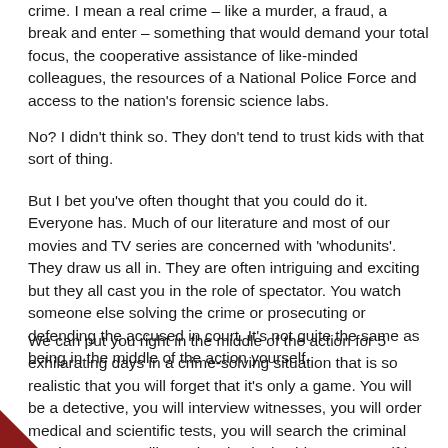crime. I mean a real crime – like a murder, a fraud, a break and enter – something that would demand your total focus, the cooperative assistance of like-minded colleagues, the resources of a National Police Force and access to the nation's forensic science labs.
No? I didn't think so. They don't tend to trust kids with that sort of thing.
But I bet you've often thought that you could do it. Everyone has. Much of our literature and most of our movies and TV series are concerned with 'whodunits'. They draw us all in. They are often intriguing and exciting but they all cast you in the role of spectator. You watch someone else solving the crime or prosecuting or defending the accused in court. It's not quite the same as being in the middle of the action yourself.
We can put you right in the middle of the action for 5 exhilarating days in a crime-solving situation that is so realistic that you will forget that it's only a game. You will be a detective, you will interview witnesses, you will order medical and scientific tests, you will search the criminal databases, you will test the physical evidence yourself in the laboratory. You will request search warrants. You and your colleagues will sift through the evidence…